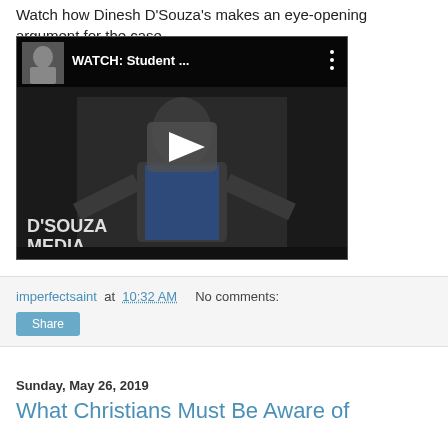Watch how Dinesh D'Souza's makes an eye-opening argument for the case.
[Figure (screenshot): YouTube video thumbnail showing Dinesh D'Souza gesturing on stage, with 'WATCH: Student ...' title and D'Souza Media watermark. Play button visible in center.]
imperfectsaint at 10:32 AM   No comments:
Share
Sunday, May 26, 2019
What Christians Must Be Aware of